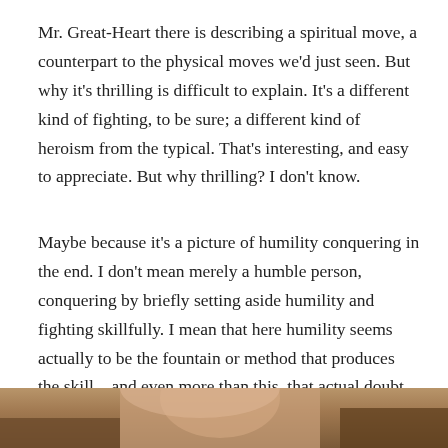Mr. Great-Heart there is describing a spiritual move, a counterpart to the physical moves we'd just seen.  But why it's thrilling is difficult to explain.  It's a different kind of fighting, to be sure; a different kind of heroism from the typical.  That's interesting, and easy to appreciate.  But why thrilling?  I don't know.
Maybe because it's a picture of humility conquering in the end.  I don't mean merely a humble person, conquering by briefly setting aside humility and fighting skillfully.  I mean that here humility seems actually to be the fountain or method that produces the skill – and even more than this, that actual doubt was not only permitted but required, and rewarded with victory.
[Figure (photo): A partially visible photograph at the bottom of the page, showing what appears to be a person's face or portrait, cropped.]